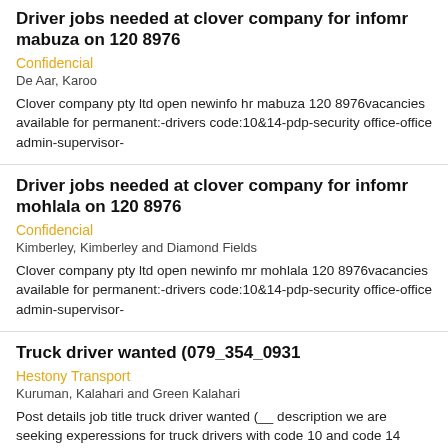Driver jobs needed at clover company for infomr mabuza on 120 8976
Confidencial
De Aar, Karoo
Clover company pty ltd open newinfo hr mabuza 120 8976vacancies available for permanent:-drivers code:10&14-pdp-security office-office admin-supervisor-
Driver jobs needed at clover company for infomr mohlala on 120 8976
Confidencial
Kimberley, Kimberley and Diamond Fields
Clover company pty ltd open newinfo mr mohlala 120 8976vacancies available for permanent:-drivers code:10&14-pdp-security office-office admin-supervisor-
Truck driver wanted (079_354_0931
Hestony Transport
Kuruman, Kalahari and Green Kalahari
Post details job title truck driver wanted (__ description we are seeking experessions for truck drivers with code 10 and code 14 license for upcoming
Motorbike driver
Executive Placements